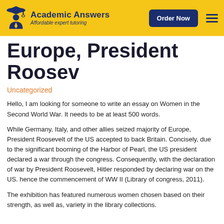Academic Answers — Affordable expert tutoring | Order Now
Europe, President Roosev
Uncategorized
Hello, I am looking for someone to write an essay on Women in the Second World War. It needs to be at least 500 words.
While Germany, Italy, and other allies seized majority of Europe, President Roosevelt of the US accepted to back Britain. Concisely, due to the significant booming of the Harbor of Pearl, the US president declared a war through the congress. Consequently, with the declaration of war by President Roosevelt, Hitler responded by declaring war on the US. hence the commencement of WW II (Library of congress, 2011).
The exhibition has featured numerous women chosen based on their strength, as well as, variety in the library collections.